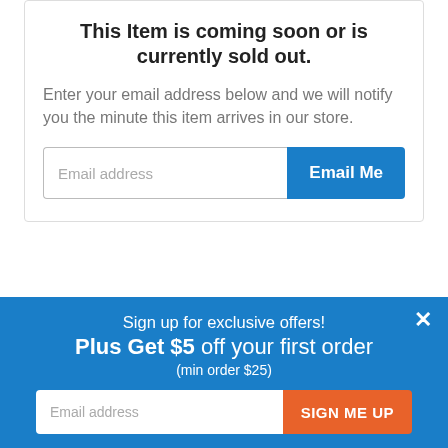This Item is coming soon or is currently sold out.
Enter your email address below and we will notify you the minute this item arrives in our store.
[Figure (screenshot): Email address input field with 'Email Me' blue button]
[Figure (screenshot): Quantity selector with minus button, 0 value, and plus button]
[Figure (screenshot): Partial card with blue border]
Sign up for exclusive offers!
Plus Get $5 off your first order
(min order $25)
[Figure (screenshot): Email address input with orange SIGN ME UP button]